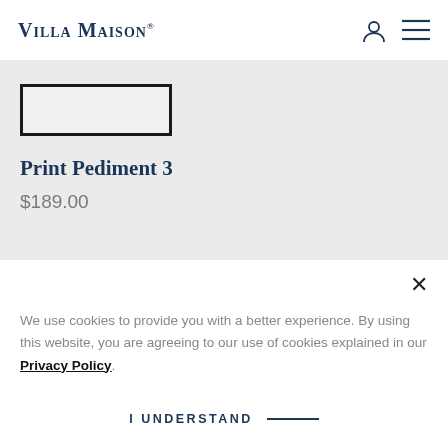Villa Maison
[Figure (other): Product image placeholder - rectangular outline]
Print Pediment 3
$189.00
× (close button)
We use cookies to provide you with a better experience. By using this website, you are agreeing to our use of cookies explained in our Privacy Policy.
I UNDERSTAND